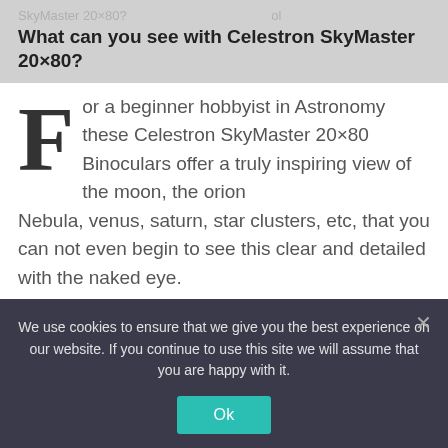SkyMaster 20×80? ... What can you see with Celestron SkyMaster 20×80?
For a beginner hobbyist in Astronomy these Celestron SkyMaster 20×80 Binoculars offer a truly inspiring view of the moon, the orion Nebula, venus, saturn, star clusters, etc, that you can not even begin to see this clear and detailed with the naked eye.
How far can you see with 15×70 binoculars?
40 feet away
We use cookies to ensure that we give you the best experience on our website. If you continue to use this site we will assume that you are happy with it.